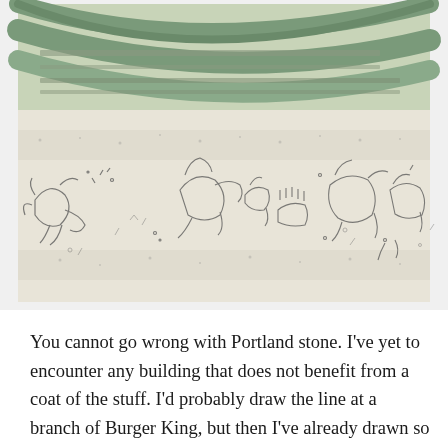[Figure (photo): A photograph showing a curved interior wall or ceiling made of Portland stone with engraved or etched line drawings depicting various figures and scenes. Above the stone panel are curved green structural beams or ceiling elements.]
You cannot go wrong with Portland stone. I've yet to encounter any building that does not benefit from a coat of the stuff. I'd probably draw the line at a branch of Burger King, but then I've already drawn so many lines at Burger